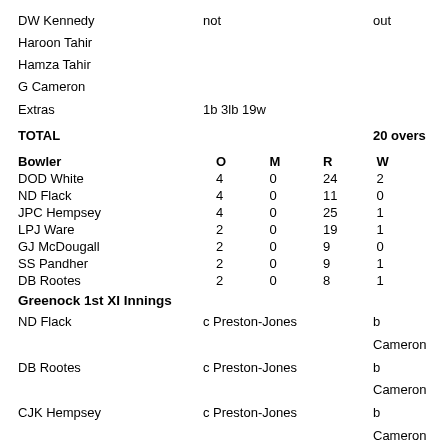DW Kennedy  not  out
Haroon Tahir
Hamza Tahir
G Cameron
Extras  1b 3lb 19w
TOTAL  20 overs
| Bowler | O | M | R | W |
| --- | --- | --- | --- | --- |
| DOD White | 4 | 0 | 24 | 2 |
| ND Flack | 4 | 0 | 11 | 0 |
| JPC Hempsey | 4 | 0 | 25 | 1 |
| LPJ Ware | 2 | 0 | 19 | 1 |
| GJ McDougall | 2 | 0 | 9 | 0 |
| SS Pandher | 2 | 0 | 9 | 1 |
| DB Rootes | 2 | 0 | 8 | 1 |
Greenock 1st XI Innings
ND Flack  c Preston-Jones  b Cameron
DB Rootes  c Preston-Jones  b Cameron
CJK Hempsey  c Preston-Jones  b Cameron
LPJ Ware  c Ramsaroop  b Haroon Tahir
HR Briggs   b Hamza Tahir
DOD White  st Stafford  b Hamza Tahir